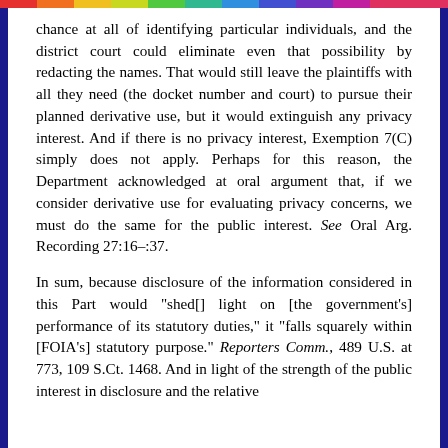chance at all of identifying particular individuals, and the district court could eliminate even that possibility by redacting the names. That would still leave the plaintiffs with all they need (the docket number and court) to pursue their planned derivative use, but it would extinguish any privacy interest. And if there is no privacy interest, Exemption 7(C) simply does not apply. Perhaps for this reason, the Department acknowledged at oral argument that, if we consider derivative use for evaluating privacy concerns, we must do the same for the public interest. See Oral Arg. Recording 27:16–:37.
In sum, because disclosure of the information considered in this Part would "shed[] light on [the government's] performance of its statutory duties," it "falls squarely within [FOIA's] statutory purpose." Reporters Comm., 489 U.S. at 773, 109 S.Ct. 1468. And in light of the strength of the public interest in disclosure and the relative